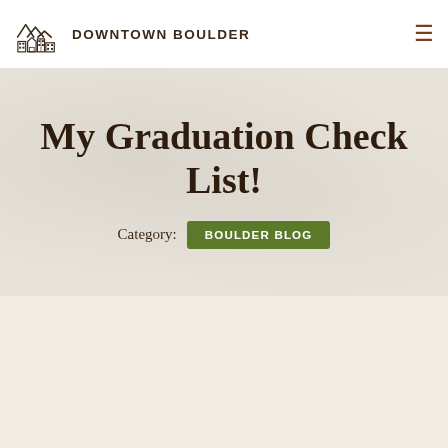DOWNTOWN BOULDER
My Graduation Check List!
Category: BOULDER BLOG
Post Date: Friday, April 21, 2017
[Figure (photo): Partial photo of what appears to be graduation-related items on a textured surface, with a dark green element visible on the left edge]